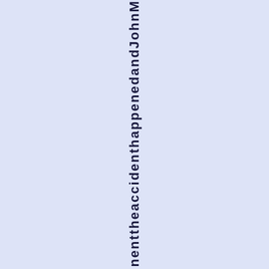nenttheaccidenthappenedandJohnM